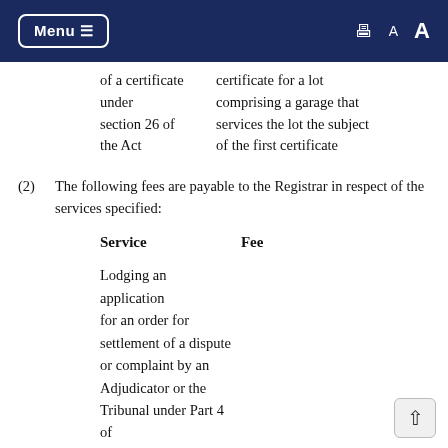Menu ≡  [print] A A
| Service | Fee |
| --- | --- |
| of a certificate under section 26 of the Act | certificate for a lot comprising a garage that services the lot the subject of the first certificate |
(2)  The following fees are payable to the Registrar in respect of the services specified:
| Service | Fee |
| --- | --- |
| Lodging an application for an order for settlement of a dispute or complaint by an Adjudicator or the Tribunal under Part 4 of the Act: |  |
| (a)  if the application includes an | $130 |